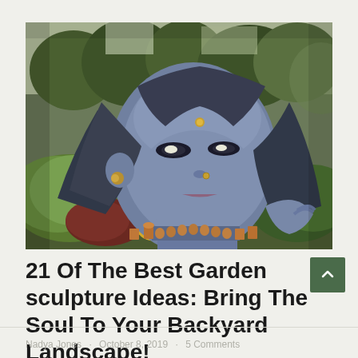[Figure (photo): Large outdoor garden sculpture of a Hindu goddess face (blue-grey stone) lying reclined among green manicured topiary mounds, flowering plants in terracotta pots arranged as a necklace, lush green trees in background.]
21 Of The Best Garden sculpture Ideas: Bring The Soul To Your Backyard Landscape!
Nadya Jones · October 8, 2019 · 5 Comments